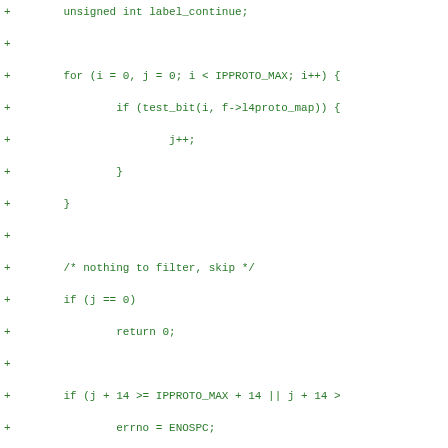Diff code block showing additions to a C source file including label_continue variable, for loop with test_bit, filter checks, memset, set_basic_filter call, and another for loop with struct sock_filter.